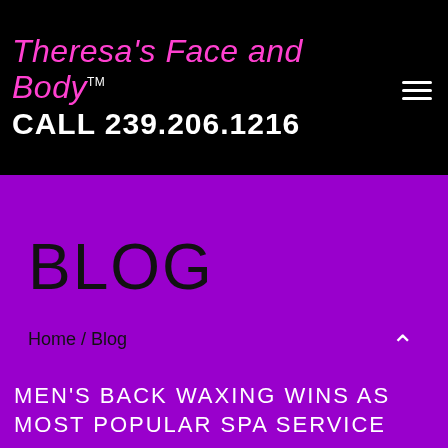Theresa's Face and Body™ CALL 239.206.1216
BLOG
Home / Blog
[Figure (other): Scroll-to-top button with upward chevron arrow on purple background]
MEN'S BACK WAXING WINS AS MOST POPULAR SPA SERVICE